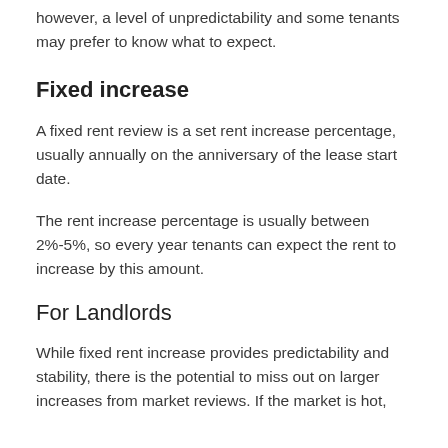however, a level of unpredictability and some tenants may prefer to know what to expect.
Fixed increase
A fixed rent review is a set rent increase percentage, usually annually on the anniversary of the lease start date.
The rent increase percentage is usually between 2%-5%, so every year tenants can expect the rent to increase by this amount.
For Landlords
While fixed rent increase provides predictability and stability, there is the potential to miss out on larger increases from market reviews. If the market is hot,